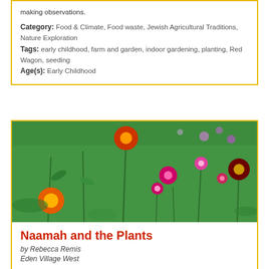making observations.
Category: Food & Climate, Food waste, Jewish Agricultural Traditions, Nature Exploration
Tags: early childhood, farm and garden, indoor gardening, planting, Red Wagon, seeding
Age(s): Early Childhood
[Figure (photo): A field of colorful strawflower blooms — orange, red, magenta, pink, and dark maroon — against a lush green background with blurred purple and pink flowers in the distance.]
Naamah and the Plants
by Rebecca Remis
Eden Village West
Before the flood while Noah was readying the animals, a midrash says his